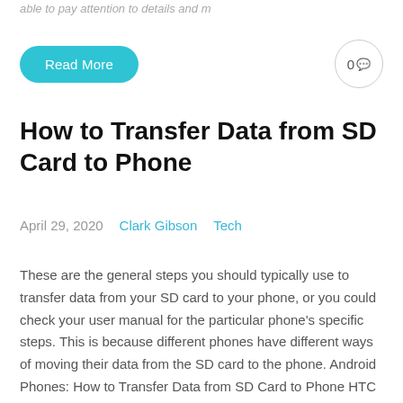able to pay attention to details and m
Read More
0
How to Transfer Data from SD Card to Phone
April 29, 2020    Clark Gibson    Tech
These are the general steps you should typically use to transfer data from your SD card to your phone, or you could check your user manual for the particular phone's specific steps. This is because different phones have different ways of moving their data from the SD card to the phone. Android Phones: How to Transfer Data from SD Card to Phone HTC Android For a normal HTC Android to transfer data from your SD card to